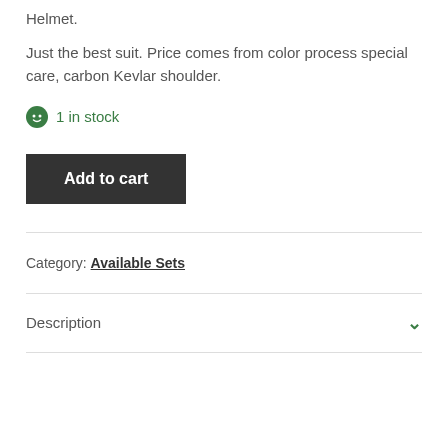Helmet.
Just the best suit. Price comes from color process special care, carbon Kevlar shoulder.
1 in stock
Add to cart
Category: Available Sets
Description